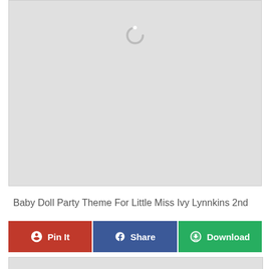[Figure (screenshot): Loading placeholder with a spinning circle indicator on a light gray background]
Baby Doll Party Theme For Little Miss Ivy Lynnkins 2nd
[Figure (other): Social sharing buttons: Pin It (red), Share (blue), Download (green)]
[Figure (other): Bottom gray placeholder area]